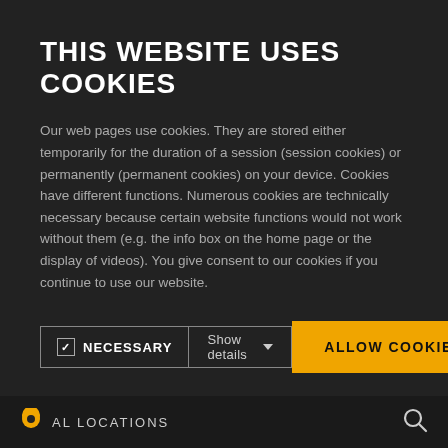THIS WEBSITE USES COOKIES
Our web pages use cookies. They are stored either temporarily for the duration of a session (session cookies) or permanently (permanent cookies) on your device. Cookies have different functions. Numerous cookies are technically necessary because certain website functions would not work without them (e.g. the info box on the home page or the display of videos). You give consent to our cookies if you continue to use our website.
party in a commonly used, machine readable format. If you should demand the direct transfer of the data to another controller, this will be done only if it is technically feasible.
SSL AND/OR TLS ENCRYPTION
AL LOCATIONS